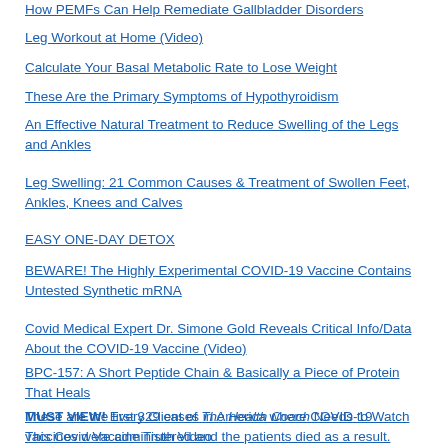How PEMFs Can Help Remediate Gallbladder Disorders
Leg Workout at Home (Video)
Calculate Your Basal Metabolic Rate to Lose Weight
These Are the Primary Symptoms of Hypothyroidism
An Effective Natural Treatment to Reduce Swelling of the Legs and Ankles
Leg Swelling: 21 Common Causes & Treatment of Swollen Feet, Ankles, Knees and Calves
EASY ONE-DAY DETOX
BEWARE! The Highly Experimental COVID-19 Vaccine Contains Untested Synthetic mRNA
Covid Medical Expert Dr. Simone Gold Reveals Critical Info/Data About the COVID-19 Vaccine (Video)
BPC-157: A Short Peptide Chain & Basically a Piece of Protein That Heals
These are the first 329 cases in America where COVID-19 vaccines were administered and the patients died as a result.
MUST VIEW! Every Client of The Health Coach Needs to Watch This Covid Vaccine Truth Video